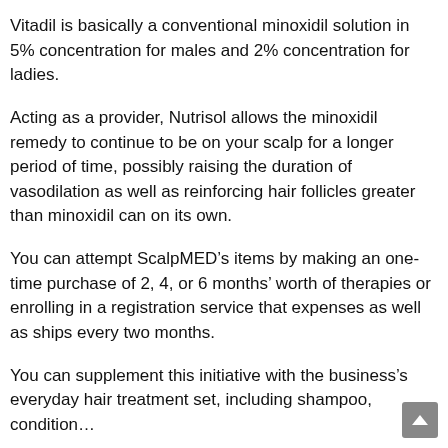Vitadil is basically a conventional minoxidil solution in 5% concentration for males and 2% concentration for ladies.
Acting as a provider, Nutrisol allows the minoxidil remedy to continue to be on your scalp for a longer period of time, possibly raising the duration of vasodilation as well as reinforcing hair follicles greater than minoxidil can on its own.
You can attempt ScalpMED’s items by making an one-time purchase of 2, 4, or 6 months’ worth of therapies or enrolling in a registration service that expenses as well as ships every two months.
You can supplement this initiative with the business’s everyday hair treatment set, including shampoo, condition…